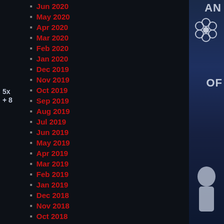Jun 2020
May 2020
Apr 2020
Mar 2020
Feb 2020
Jan 2020
Dec 2019
Nov 2019
Oct 2019
Sep 2019
Aug 2019
Jul 2019
Jun 2019
May 2019
Apr 2019
Mar 2019
Feb 2019
Jan 2019
Dec 2018
Nov 2018
Oct 2018
Apr 2018